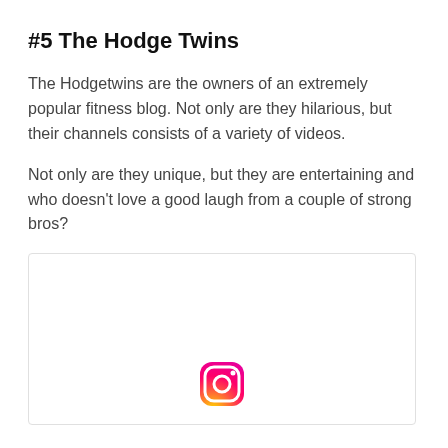#5 The Hodge Twins
The Hodgetwins are the owners of an extremely popular fitness blog. Not only are they hilarious, but their channels consists of a variety of videos.
Not only are they unique, but they are entertaining and who doesn't love a good laugh from a couple of strong bros?
[Figure (other): Embedded social media widget with Instagram icon at the bottom center]